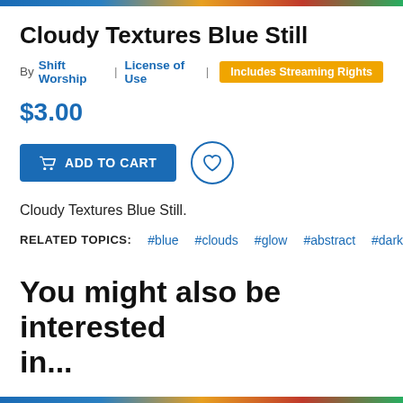Cloudy Textures Blue Still
By Shift Worship | License of Use | Includes Streaming Rights
$3.00
[Figure (other): Add to Cart button and wishlist heart icon button]
Cloudy Textures Blue Still.
RELATED TOPICS: #blue #clouds #glow #abstract #dark
You might also be interested in...